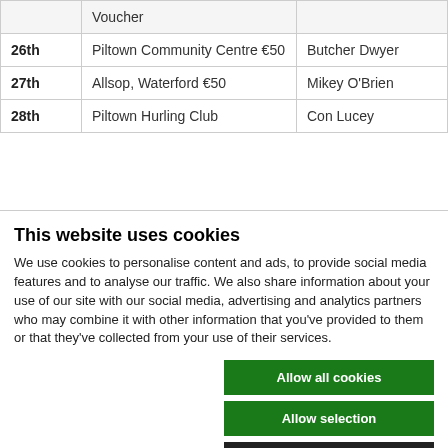|  | Prize | Winner |
| --- | --- | --- |
|  | Voucher |  |
| 26th | Piltown Community Centre €50 | Butcher Dwyer |
| 27th | Allsop, Waterford €50 | Mikey O'Brien |
| 28th | Piltown Hurling Club | Con Lucey |
This website uses cookies
We use cookies to personalise content and ads, to provide social media features and to analyse our traffic. We also share information about your use of our site with our social media, advertising and analytics partners who may combine it with other information that you've provided to them or that they've collected from your use of their services.
Allow all cookies
Allow selection
Use necessary cookies only
Necessary  Preferences  Statistics  Marketing  Show details